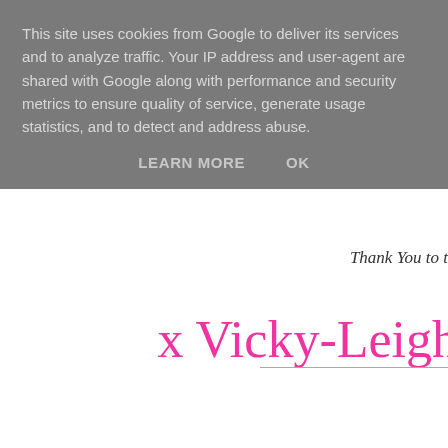This site uses cookies from Google to deliver its services and to analyze traffic. Your IP address and user-agent are shared with Google along with performance and security metrics to ensure quality of service, generate usage statistics, and to detect and address abuse.
LEARN MORE   OK
Thank You to t
x Vicky-Leigh